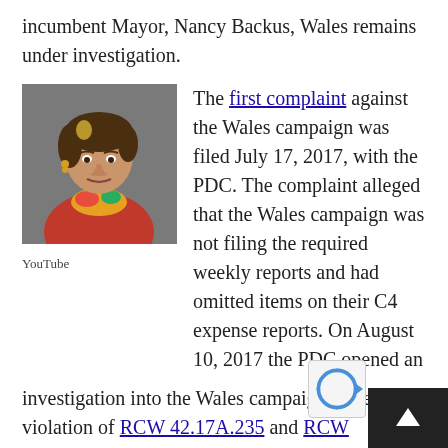incumbent Mayor, Nancy Backus, Wales remains under investigation.
[Figure (photo): Headshot photo of a woman in a red blazer with a colorful scarf, attributed to YouTube]
YouTube
The first complaint against the Wales campaign was filed July 17, 2017, with the PDC. The complaint alleged that the Wales campaign was not filing the required weekly reports and had omitted items on their C4 expense reports. On August 10, 2017 the PDC opened an investigation into the Wales campaign's alleged violation of RCW 42.17A.235 and RCW 42.17A.240.
On August 18, 2017, CM Wales responded to the complaint stating, “I have checked with my campaign treasurer and she reports that all monthly reports have been submitted and confirmation has been received…”